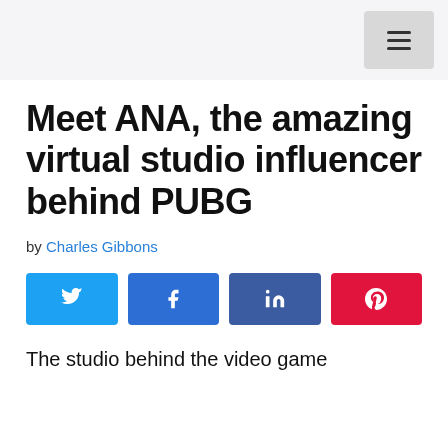Meet ANA, the amazing virtual studio influencer behind PUBG
by Charles Gibbons
[Figure (other): Social share buttons: Twitter, Facebook, LinkedIn, Pinterest]
The studio behind the video game